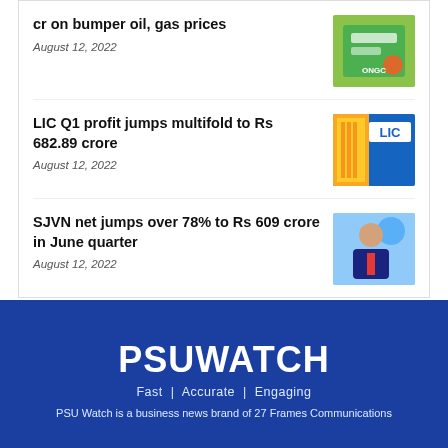cr on bumper oil, gas prices
August 12, 2022
[Figure (photo): ONGC billboard/signage photo]
LIC Q1 profit jumps multifold to Rs 682.89 crore
August 12, 2022
[Figure (photo): LIC building facade with yellow and blue LIC signage]
SJVN net jumps over 78% to Rs 609 crore in June quarter
August 12, 2022
[Figure (photo): Portrait of a man in suit with red tie, blue background]
PSUWATCH
Fast | Accurate | Engaging
PSU Watch is a business news brand of 27 Frames Communications